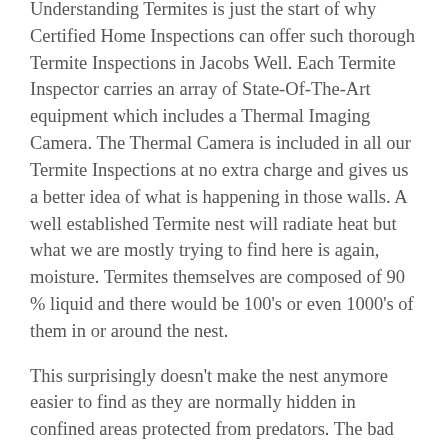Understanding Termites is just the start of why Certified Home Inspections can offer such thorough Termite Inspections in Jacobs Well. Each Termite Inspector carries an array of State-Of-The-Art equipment which includes a Thermal Imaging Camera. The Thermal Camera is included in all our Termite Inspections at no extra charge and gives us a better idea of what is happening in those walls. A well established Termite nest will radiate heat but what we are mostly trying to find here is again, moisture. Termites themselves are composed of 90 % liquid and there would be 100's or even 1000's of them in or around the nest.
This surprisingly doesn't make the nest anymore easier to find as they are normally hidden in confined areas protected from predators. The bad news is that if we find a nest, depending on the specie, it may only be a sub-nest.
Where do we look in a Jacobs Well Termite Inspection?
All our Termite Inspectors are agile enough to